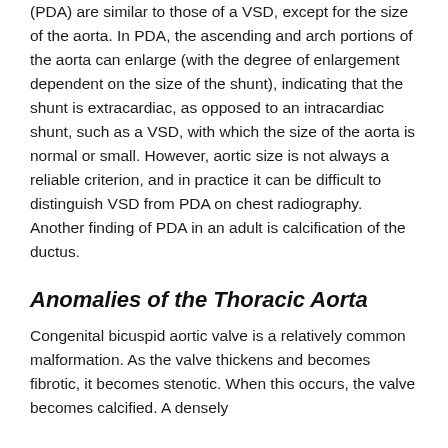(PDA) are similar to those of a VSD, except for the size of the aorta. In PDA, the ascending and arch portions of the aorta can enlarge (with the degree of enlargement dependent on the size of the shunt), indicating that the shunt is extracardiac, as opposed to an intracardiac shunt, such as a VSD, with which the size of the aorta is normal or small. However, aortic size is not always a reliable criterion, and in practice it can be difficult to distinguish VSD from PDA on chest radiography. Another finding of PDA in an adult is calcification of the ductus.
Anomalies of the Thoracic Aorta
Congenital bicuspid aortic valve is a relatively common malformation. As the valve thickens and becomes fibrotic, it becomes stenotic. When this occurs, the valve becomes calcified. A densely